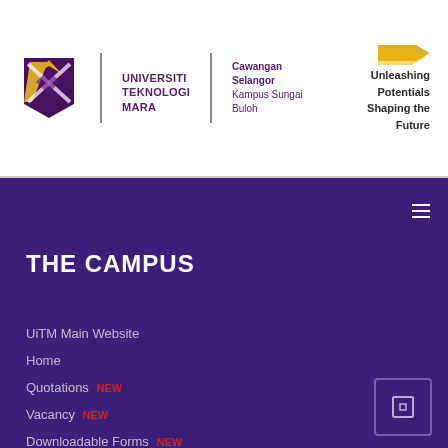[Figure (logo): Universiti Teknologi MARA (UiTM) logo with crest, university name, Cawangan Selangor Kampus Sungai Buloh text, and tagline 'Unleashing Potentials Shaping the Future']
THE CAMPUS
UiTM Main Website
Home
Quotations NEW
Vacancy NEW
Downloadable Forms NEW